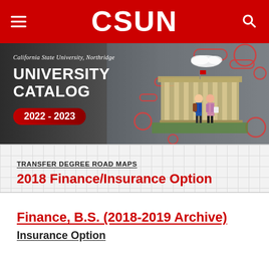CSUN
[Figure (illustration): CSUN University Catalog 2022-2023 banner with illustration of two students walking in front of a campus building on a grey gradient background with decorative circular elements]
TRANSFER DEGREE ROAD MAPS
2018 Finance/Insurance Option
Finance, B.S. (2018-2019 Archive)
Insurance Option